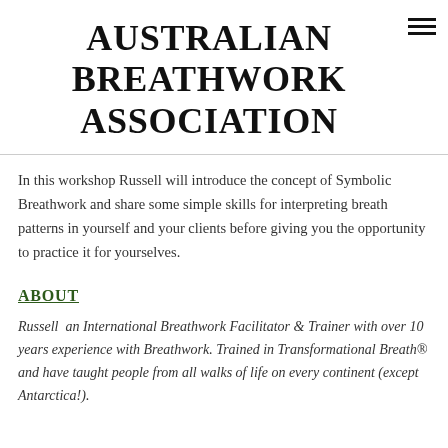AUSTRALIAN BREATHWORK ASSOCIATION
In this workshop Russell will introduce the concept of Symbolic Breathwork and share some simple skills for interpreting breath patterns in yourself and your clients before giving you the opportunity to practice it for yourselves.
ABOUT
Russell  an International Breathwork Facilitator & Trainer with over 10 years experience with Breathwork. Trained in Transformational Breath® and have taught people from all walks of life on every continent (except Antarctica!).